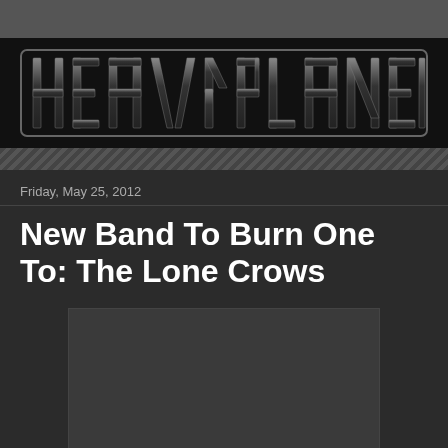[Figure (logo): Heavy Planet logo in dark metallic block letter style]
Friday, May 25, 2012
New Band To Burn One To: The Lone Crows
[Figure (photo): Dark placeholder image area below the article title]